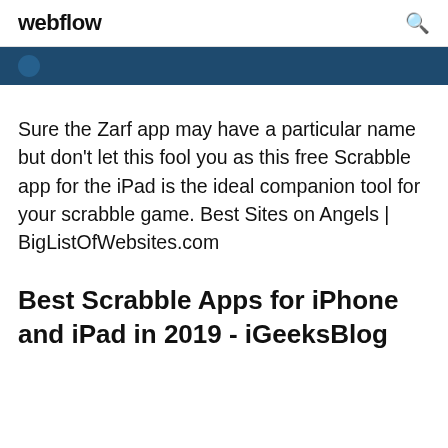webflow
Sure the Zarf app may have a particular name but don't let this fool you as this free Scrabble app for the iPad is the ideal companion tool for your scrabble game. Best Sites on Angels | BigListOfWebsites.com
Best Scrabble Apps for iPhone and iPad in 2019 - iGeeksBlog